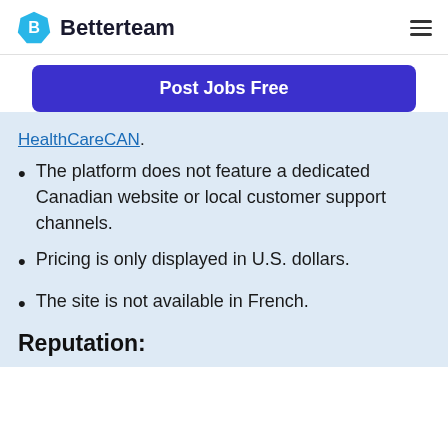Betterteam
Post Jobs Free
HealthCareCAN.
The platform does not feature a dedicated Canadian website or local customer support channels.
Pricing is only displayed in U.S. dollars.
The site is not available in French.
Reputation: